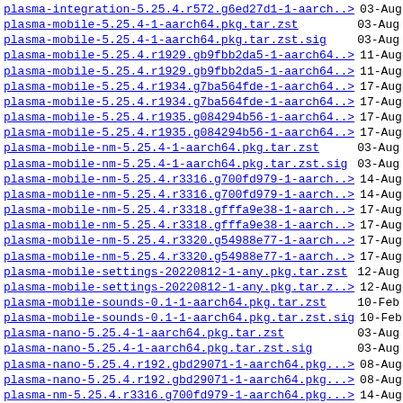plasma-integration-5.25.4.r572.g6ed27d1-1-aarch.. 03-Aug
plasma-mobile-5.25.4-1-aarch64.pkg.tar.zst 03-Aug
plasma-mobile-5.25.4-1-aarch64.pkg.tar.zst.sig 03-Aug
plasma-mobile-5.25.4.r1929.gb9fbb2da5-1-aarch64.. 11-Aug
plasma-mobile-5.25.4.r1929.gb9fbb2da5-1-aarch64.. 11-Aug
plasma-mobile-5.25.4.r1934.g7ba564fde-1-aarch64.. 17-Aug
plasma-mobile-5.25.4.r1934.g7ba564fde-1-aarch64.. 17-Aug
plasma-mobile-5.25.4.r1935.g084294b56-1-aarch64.. 17-Aug
plasma-mobile-5.25.4.r1935.g084294b56-1-aarch64.. 17-Aug
plasma-mobile-nm-5.25.4-1-aarch64.pkg.tar.zst 03-Aug
plasma-mobile-nm-5.25.4-1-aarch64.pkg.tar.zst.sig 03-Aug
plasma-mobile-nm-5.25.4.r3316.g700fd979-1-aarch.. 14-Aug
plasma-mobile-nm-5.25.4.r3316.g700fd979-1-aarch.. 14-Aug
plasma-mobile-nm-5.25.4.r3318.gfffa9e38-1-aarch.. 17-Aug
plasma-mobile-nm-5.25.4.r3318.gfffa9e38-1-aarch.. 17-Aug
plasma-mobile-nm-5.25.4.r3320.g54988e77-1-aarch.. 17-Aug
plasma-mobile-nm-5.25.4.r3320.g54988e77-1-aarch.. 17-Aug
plasma-mobile-settings-20220812-1-any.pkg.tar.zst 12-Aug
plasma-mobile-settings-20220812-1-any.pkg.tar.z.. 12-Aug
plasma-mobile-sounds-0.1-1-aarch64.pkg.tar.zst 10-Feb
plasma-mobile-sounds-0.1-1-aarch64.pkg.tar.zst.sig 10-Feb
plasma-nano-5.25.4-1-aarch64.pkg.tar.zst 03-Aug
plasma-nano-5.25.4-1-aarch64.pkg.tar.zst.sig 03-Aug
plasma-nano-5.25.4.r192.gbd29071-1-aarch64.pkg...> 08-Aug
plasma-nano-5.25.4.r192.gbd29071-1-aarch64.pkg...> 08-Aug
plasma-nm-5.25.4.r3316.g700fd979-1-aarch64.pkg...> 14-Aug
plasma-nm-5.25.4.r3316.g700fd979-1-aarch64.pkg...> 14-Aug
plasma-nm-5.25.4.r3318.gfffa9e38-1-aarch64.pkg...> 17-Aug
plasma-nm-5.25.4.r3318.gfffa9e38-1-aarch64.pkg...> 17-Aug
plasma-nm-5.25.4.r3320.g54988e77-1-aarch64.pkg.. 17-Aug